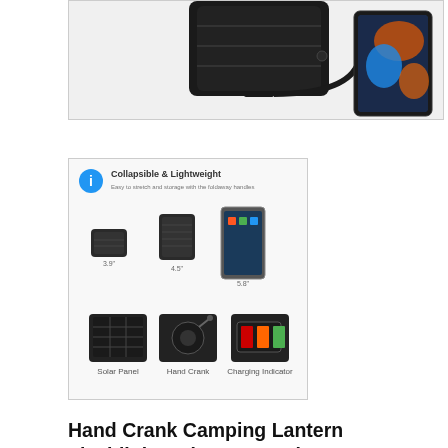[Figure (photo): Top portion of a black camping lantern/power bank device connected to a smartphone via USB cable, shown on white background]
[Figure (photo): Product infographic showing 'Collapsible & Lightweight' camping lantern in various states: collapsed, extended, next to phone for size comparison, and three bottom images showing Solar Panel, Hand Crank, and Charging features]
Hand Crank Camping Lantern Flashlight Solar Powered, 3000 Rechargeable LED Camping Light with USB Charger, Super Bright...
Amazon.com Price: $23.99 (as of 23/08/2022 05:40 PST- Details)
Make sure this fits by entering your model number. [Updated 3 Charging Methods] To keep your lights never run out of electricity, our camping lantern